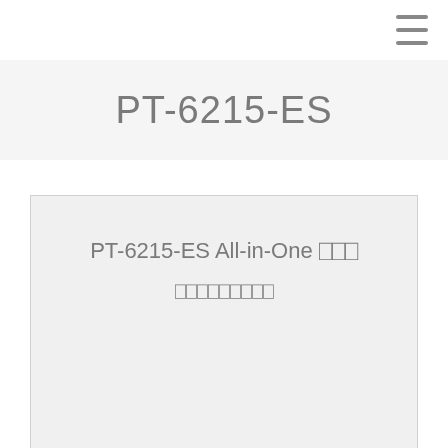☰
PT-6215-ES
PT-6215-ES All-in-One 스마트 레이블 프린터